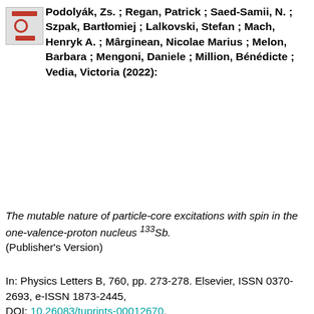Podolyák, Zs. ; Regan, Patrick ; Saed-Samii, N. ; Szpak, Bartłomiej ; Lalkovski, Stefan ; Mach, Henryk A. ; Mârginean, Nicolae Marius ; Melon, Barbara ; Mengoni, Daniele ; Million, Bénédicte ; Vedia, Victoria (2022):
The mutable nature of particle-core excitations with spin in the one-valence-proton nucleus 133Sb. (Publisher's Version)
In: Physics Letters B, 760, pp. 273-278. Elsevier, ISSN 0370-2693, e-ISSN 1873-2445, DOI: 10.26083/tuprints-00012670, [Article]
[Figure (other): Thumbnail image of the PDF document page]
Text
1-s2.0-S0370269316303252-main.pdf
Available under: CC BY 4.0 International - Creative Commons, Attribution.
Download (826kB) | Preview